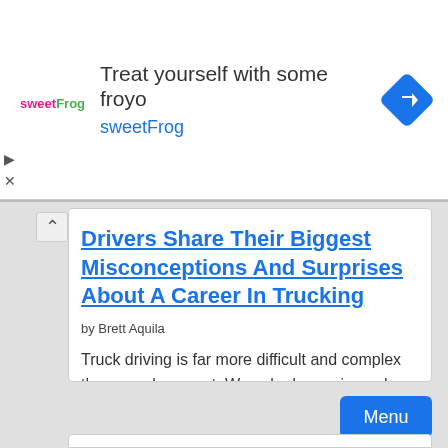[Figure (advertisement): sweetFrog frozen yogurt advertisement banner with logo, text 'Treat yourself with some froyo sweetFrog', and a navigation diamond icon]
Drivers Share Their Biggest Misconceptions And Surprises About A Career In Trucking
by Brett Aquila
Truck driving is far more difficult and complex than people expect. We asked experienced drivers what the biggest surprises and misconceptions are about this career.